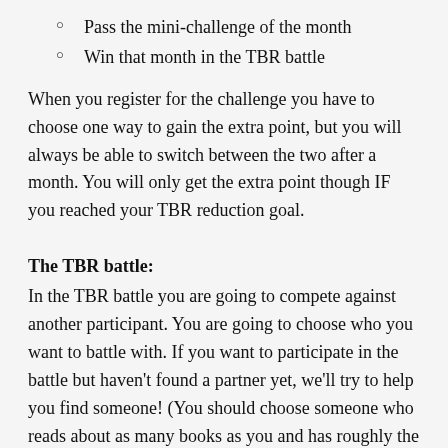Pass the mini-challenge of the month
Win that month in the TBR battle
When you register for the challenge you have to choose one way to gain the extra point, but you will always be able to switch between the two after a month. You will only get the extra point though IF you reached your TBR reduction goal.
The TBR battle:
In the TBR battle you are going to compete against another participant. You are going to choose who you want to battle with. If you want to participate in the battle but haven't found a partner yet, we'll try to help you find someone! (You should choose someone who reads about as many books as you and has roughly the same goal)
The person who reduced their TBR by more books during a